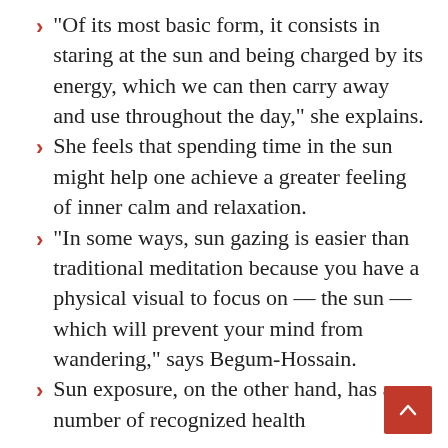“Of its most basic form, it consists in staring at the sun and being charged by its energy, which we can then carry away and use throughout the day,” she explains.
She feels that spending time in the sun might help one achieve a greater feeling of inner calm and relaxation.
“In some ways, sun gazing is easier than traditional meditation because you have a physical visual to focus on — the sun — which will prevent your mind from wandering,” says Begum-Hossain.
Sun exposure, on the other hand, has a number of recognized health